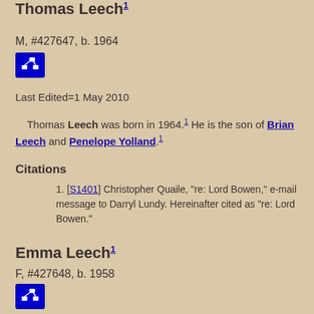Thomas Leech¹
M, #427647, b. 1964
[Figure (other): Blue icon button with network/tree diagram icon]
Last Edited=1 May 2010
Thomas Leech was born in 1964.¹ He is the son of Brian Leech and Penelope Yolland.¹
Citations
[S1401] Christopher Quaile, "re: Lord Bowen," e-mail message to Darryl Lundy. Hereinafter cited as "re: Lord Bowen."
Emma Leech¹
F, #427648, b. 1958
[Figure (other): Blue icon button with network/tree diagram icon]
Last Edited=1 May 2010